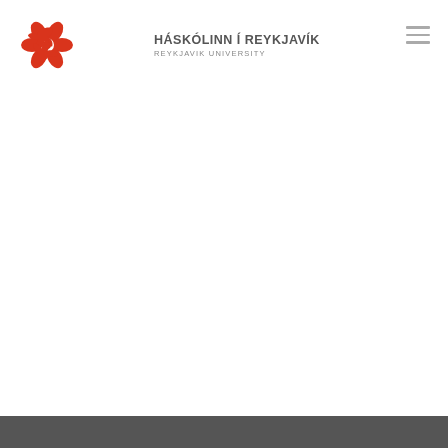HÁSKÓLINN Í REYKJAVÍK REYKJAVIK UNIVERSITY